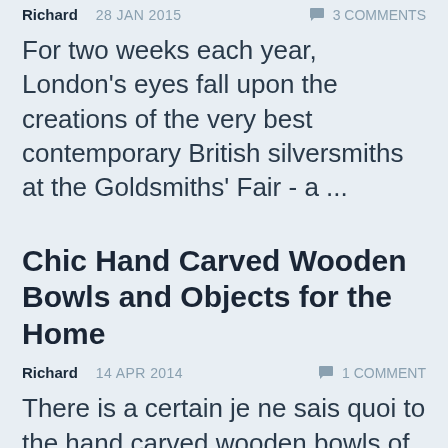Richard   28 JAN 2015   3 COMMENTS
For two weeks each year, London's eyes fall upon the creations of the very best contemporary British silversmiths at the Goldsmiths' Fair - a ...
Chic Hand Carved Wooden Bowls and Objects for the Home
Richard   14 APR 2014   1 COMMENT
There is a certain je ne sais quoi to the hand carved wooden bowls of self-taught English woodcarver Nic Webb who is making a ...